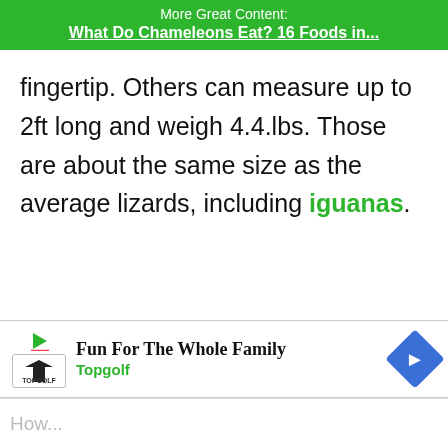More Great Content: What Do Chameleons Eat? 16 Foods in...
fingertip. Others can measure up to 2ft long and weigh 4.4.lbs. Those are about the same size as the average lizards, including iguanas.
[Figure (other): Advertisement banner for Topgolf: Fun For The Whole Family]
How...